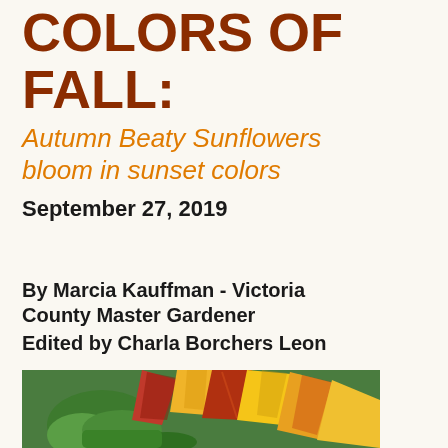COLORS OF FALL:
Autumn Beaty Sunflowers bloom in sunset colors
September 27, 2019
By Marcia Kauffman - Victoria County Master Gardener
Edited by Charla Borchers Leon
[Figure (photo): Close-up photo of an Autumn Beauty sunflower showing multi-colored petals in yellow, red, and pink striped patterns with green bud/calyx visible]